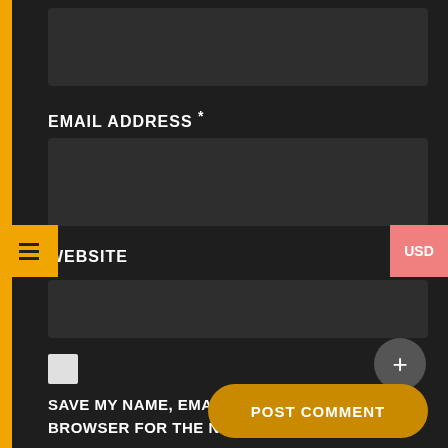[Figure (screenshot): Top input field (dark background, empty text box)]
EMAIL ADDRESS *
[Figure (screenshot): Email address input field (dark background, empty text box)]
WEBSITE
[Figure (screenshot): Website input field (dark background, empty text box) with plus button]
[Figure (screenshot): Checkbox (white square)]
SAVE MY NAME, EMAIL, AND WEBSITE IN THIS BROWSER FOR THE NEXT TIME I COMMENT.
POST COMMENT